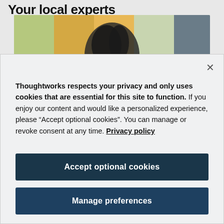Your local experts
[Figure (photo): Blurred photo of a person with dark hair against a colorful background with orange and green tones]
Thoughtworks respects your privacy and only uses cookies that are essential for this site to function. If you enjoy our content and would like a personalized experience, please “Accept optional cookies”. You can manage or revoke consent at any time. Privacy policy
Accept optional cookies
Manage preferences